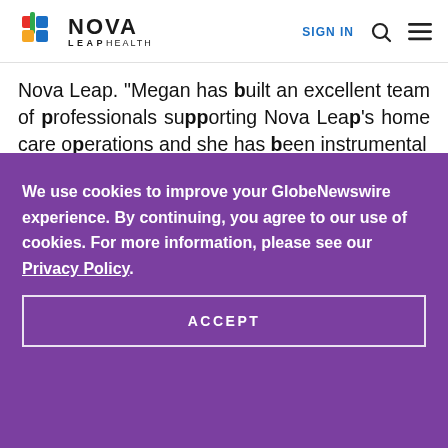Nova Leap Health — SIGN IN
Nova Leap. “Megan has built an excellent team of professionals supporting Nova Leap’s home care operations and she has been instrumental
We use cookies to improve your GlobeNewswire experience. By continuing, you agree to our use of cookies. For more information, please see our Privacy Policy.
ACCEPT